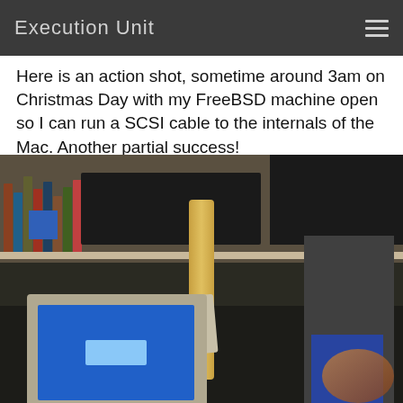Execution Unit
Here is an action shot, sometime around 3am on Christmas Day with my FreeBSD machine open so I can run a SCSI cable to the internals of the Mac. Another partial success!
[Figure (photo): A cluttered desk scene photographed around 3am showing a FreeBSD computer tower with open case, an old CRT monitor displaying a blue screen with a white rectangle, a keyboard, shelves with games/books, drives, cables, and a second large CRT monitor on the right side.]